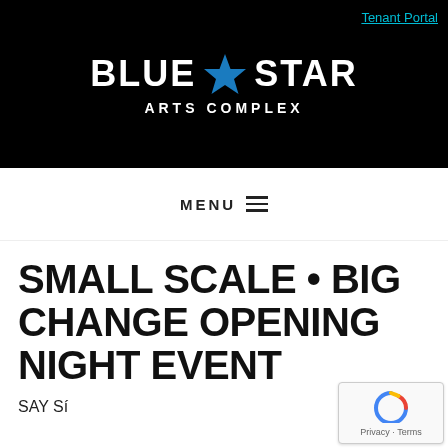[Figure (logo): Blue Star Arts Complex logo on black background with blue star icon, white bold text 'BLUE STAR' and subtitle 'ARTS COMPLEX'. Tenant Portal link in cyan top right.]
MENU
SMALL SCALE • BIG CHANGE OPENING NIGHT EVENT
SAY Sí